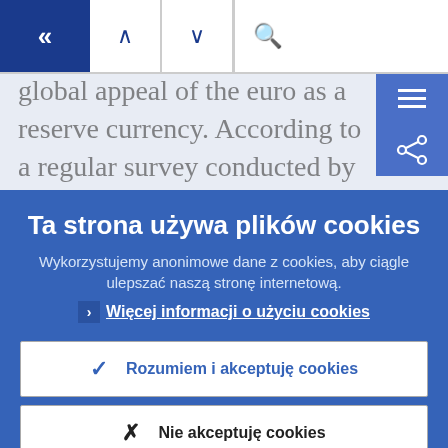[Figure (screenshot): Navigation bar with back button (double left chevron in dark blue), up and down arrow buttons, and a search icon with text input field]
global appeal of the euro as a reserve currency. According to a regular survey conducted by the investment bank UBS,[17] around 86% of respondents cited this as
Ta strona używa plików cookies
Wykorzystujemy anonimowe dane z cookies, aby ciągle ulepszać naszą stronę internetową.
› Więcej informacji o użyciu cookies
✓ Rozumiem i akceptuję cookies
✕ Nie akceptuję cookies